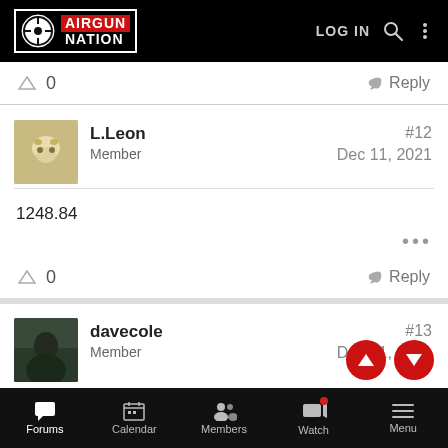[Figure (logo): Airgun Nation logo with target icon, white border on black background]
0
Reply
L.Leon
Member
#12
Dec 11, 2021
1248.84
•••
0
Reply
davecole
Member
#13
Dec 11, 2021
Forums  Calendar  Members  Watch  Menu